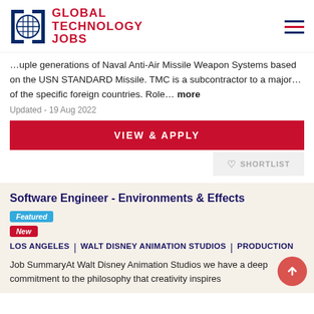GLOBAL TECHNOLOGY JOBS
...uple generations of Naval Anti-Air Missile Weapon Systems based on the USN STANDARD Missile. TMC is a subcontractor to a major... of the specific foreign countries. Role... more
Updated - 19 Aug 2022
VIEW & APPLY
♡ SHORTLIST
Software Engineer - Environments & Effects
Featured
New
LOS ANGELES | WALT DISNEY ANIMATION STUDIOS | PRODUCTION
Job SummaryAt Walt Disney Animation Studios we have a deep commitment to the philosophy that creativity inspires